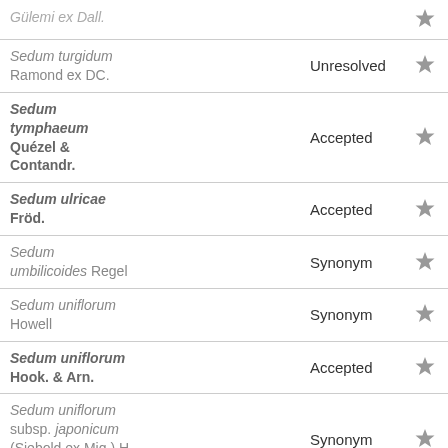| Name | Status |  |
| --- | --- | --- |
| Gülemi ex Dall. |  | ★ |
| Sedum turgidum Ramond ex DC. | Unresolved | ★ |
| Sedum tymphaeum Quézel & Contandr. | Accepted | ★ |
| Sedum ulricae Fröd. | Accepted | ★ |
| Sedum umbilicoides Regel | Synonym | ★ |
| Sedum uniflorum Howell | Synonym | ★ |
| Sedum uniflorum Hook. & Arn. | Accepted | ★ |
| Sedum uniflorum subsp. japonicum (Siebold ex Miq.) H. Ohba | Synonym | ★ |
| Sedum uniflorum subsp. rugosum (Fröd.) K.T. Fu | Synonym | ★ |